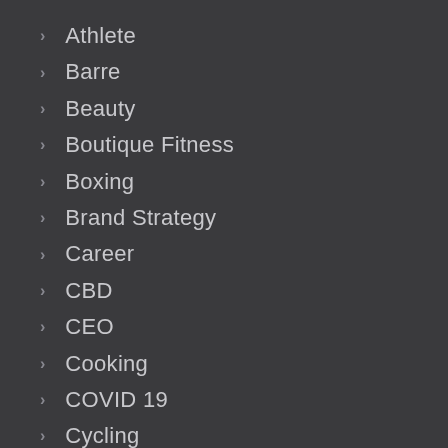Athlete
Barre
Beauty
Boutique Fitness
Boxing
Brand Strategy
Career
CBD
CEO
Cooking
COVID 19
Cycling